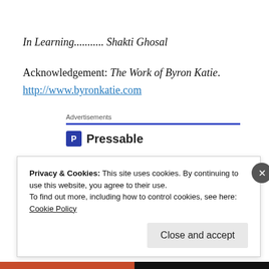In Learning........... Shakti Ghosal
Acknowledgement: The Work of Byron Katie.
http://www.byronkatie.com
Advertisements
[Figure (logo): Pressable logo with blue P icon]
Privacy & Cookies: This site uses cookies. By continuing to use this website, you agree to their use.
To find out more, including how to control cookies, see here:
Cookie Policy

Close and accept